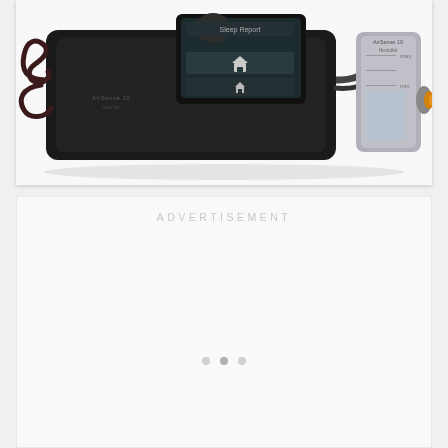[Figure (photo): CPAP / APAP medical device (ResMed AirSense 10 style) shown from above on white background, with a black main unit featuring a touchscreen display showing a home icon and report screen, connected via braided hose to a gray humidifier/water chamber unit with visible water level markings and an orange-tipped connector]
ADVERTISEMENT